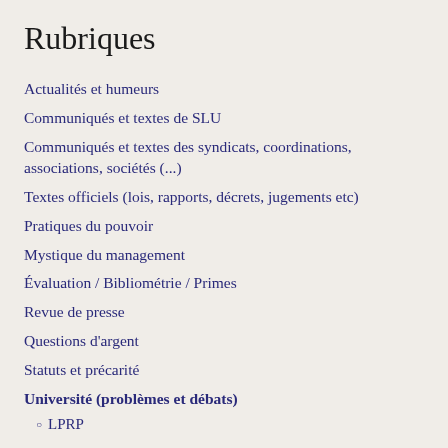Rubriques
Actualités et humeurs
Communiqués et textes de SLU
Communiqués et textes des syndicats, coordinations, associations, sociétés (...)
Textes officiels (lois, rapports, décrets, jugements etc)
Pratiques du pouvoir
Mystique du management
Évaluation / Bibliométrie / Primes
Revue de presse
Questions d'argent
Statuts et précarité
Université (problèmes et débats)
LPRP